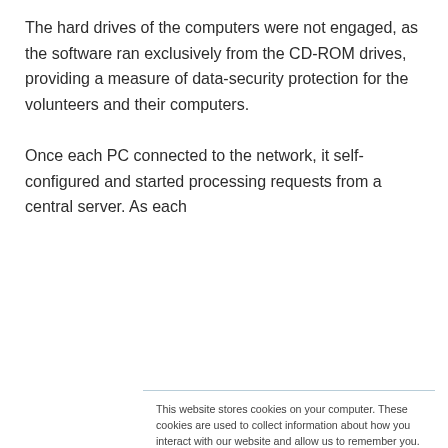The hard drives of the computers were not engaged, as the software ran exclusively from the CD-ROM drives, providing a measure of data-security protection for the volunteers and their computers.

Once each PC connected to the network, it self-configured and started processing requests from a central server. As each
This website stores cookies on your computer. These cookies are used to collect information about how you interact with our website and allow us to remember you. We use this information in order to improve and customize your browsing experience and for analytics and metrics about our visitors both on this website and other media. To find out more about the cookies we use, see our Privacy Policy. California residents have the right to direct us not to sell their personal information to third parties by filing an Opt-Out Request: Do Not Sell My Personal Info.
Accept